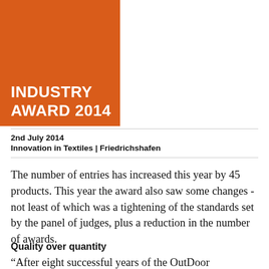[Figure (logo): Orange rectangle block with white bold text reading INDUSTRY AWARD 2014]
2nd July 2014
Innovation in Textiles | Friedrichshafen
The number of entries has increased this year by 45 products. This year the award also saw some changes - not least of which was a tightening of the standards set by the panel of judges, plus a reduction in the number of awards.
Quality over quantity
“After eight successful years of the OutDoor